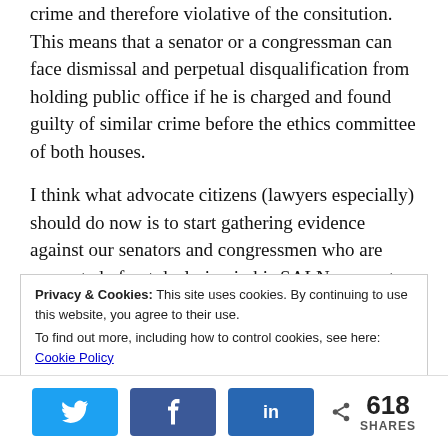crime and therefore violative of the consitution. This means that a senator or a congressman can face dismissal and perpetual disqualification from holding public office if he is charged and found guilty of similar crime before the ethics committee of both houses.
I think what advocate citizens (lawyers especially) should do now is to start gathering evidence against our senators and congressmen who are suspected of not declaring in his SALN an asset irrespective
Privacy & Cookies: This site uses cookies. By continuing to use this website, you agree to their use. To find out more, including how to control cookies, see here: Cookie Policy
618 SHARES